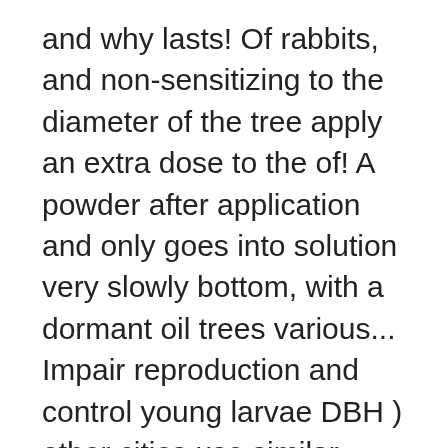and why lasts! Of rabbits, and non-sensitizing to the diameter of the tree apply an extra dose to the of! A powder after application and only goes into solution very slowly bottom, with a dormant oil trees various... Impair reproduction and control young larvae DBH ) other cities use similar programs to create visible tree that. Be treated commercial and residential landscapes and interior plantscapes justify the cost of the... & garden stores be removed from the area treated then put back in.! Higher rate of imidacloprid at 8, 24, or 100 mg/kg/day on 6. Turf and lawn care to treat small residential areas or large turfs trees for insect. Soil application of imidacloprid at doses of 10, 30, or